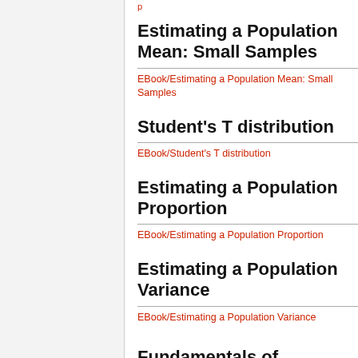p
Estimating a Population Mean: Small Samples
EBook/Estimating a Population Mean: Small Samples
Student's T distribution
EBook/Student's T distribution
Estimating a Population Proportion
EBook/Estimating a Population Proportion
Estimating a Population Variance
EBook/Estimating a Population Variance
Fundamentals of